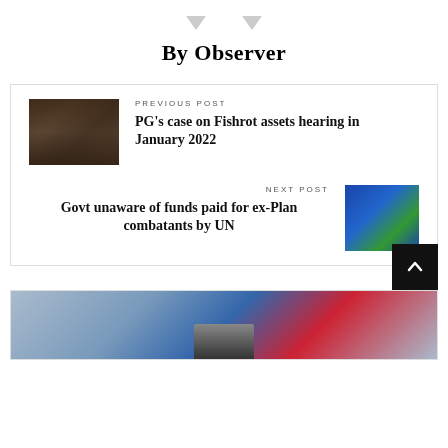By Observer
PREVIOUS POST
PG's case on Fishrot assets hearing in January 2022
NEXT POST
Govt unaware of funds paid for ex-Plan combatants by UN
[Figure (photo): Partial image visible at bottom of page, appears to be a vehicle or street scene with blue and red colors]
[Figure (photo): Thumbnail of group of men seated, used for previous post navigation]
[Figure (photo): Thumbnail of a man in suit with flags in background, used for next post navigation]